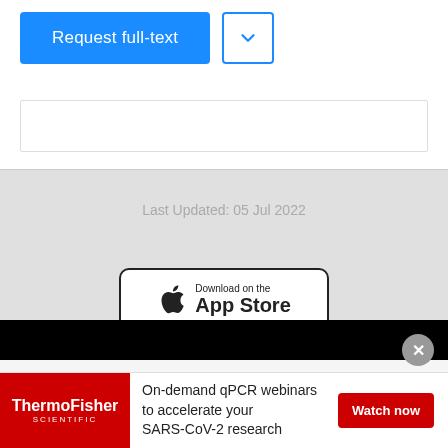[Figure (screenshot): ResearchGate web interface showing a 'Request full-text' blue button and a dropdown arrow button]
Last Updated: 05 Jul 2022
[Figure (screenshot): Download on the App Store button (Apple)]
[] Hire top scientific talent ⊗ with ResearchGate
About us
Help Center
Advertisement
News
[Figure (screenshot): ThermoFisher Scientific advertisement: On-demand qPCR webinars to accelerate your SARS-CoV-2 research. Watch now button.]